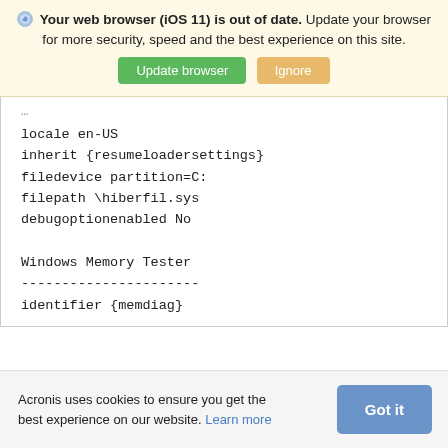[Figure (screenshot): Browser update warning banner with icon, bold text 'Your web browser (iOS 11) is out of date.' followed by 'Update your browser for more security, speed and the best experience on this site.' with green 'Update browser' button and tan 'Ignore' button.]
locale en-US
inherit {resumeloadersettings}
filedevice partition=C:
filepath \hiberfil.sys
debugoptionenabled No

Windows Memory Tester
---------------------
identifier {memdiag}
[Figure (screenshot): Cookie consent banner at bottom: 'Acronis uses cookies to ensure you get the best experience on our website. Learn more' with a blue 'Got it' button.]